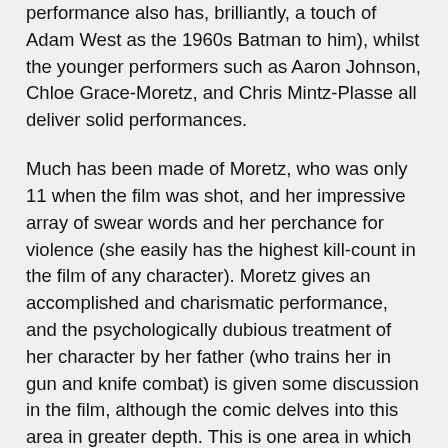performance also has, brilliantly, a touch of Adam West as the 1960s Batman to him), whilst the younger performers such as Aaron Johnson, Chloe Grace-Moretz, and Chris Mintz-Plasse all deliver solid performances.
Much has been made of Moretz, who was only 11 when the film was shot, and her impressive array of swear words and her perchance for violence (she easily has the highest kill-count in the film of any character). Moretz gives an accomplished and charismatic performance, and the psychologically dubious treatment of her character by her father (who trains her in gun and knife combat) is given some discussion in the film, although the comic delves into this area in greater depth. This is one area in which the film could probably have done with some more development, as Hit Girl does come across as a bit more of a psychopath than perhaps the writers intended (the 'child soldier' element appears to be more prominent in the comic, where her father's motives are much more questionable). However, questions of the morality of this storyline seem to miss the point that this element was intended to be challenging and raise questions over the juxtaposition of children and violence, with The Daily Mail instead focusing its rage on the